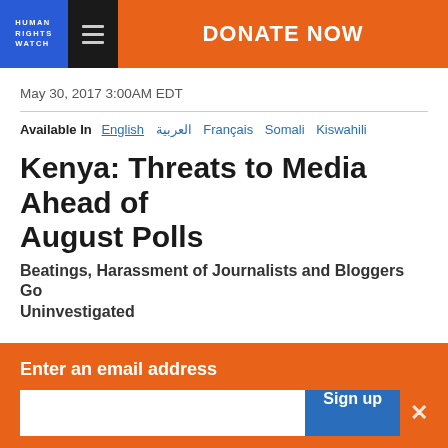HUMAN RIGHTS WATCH | DONATE NOW
May 30, 2017 3:00AM EDT
Available In  English  العربية  Français  Somali  Kiswahili
Kenya: Threats to Media Ahead of August Polls
Beatings, Harassment of Journalists and Bloggers Go Uninvestigated
[Figure (other): Social sharing icons: Facebook, Twitter, WhatsApp, Email, Share]
Enter an email address
Sign up